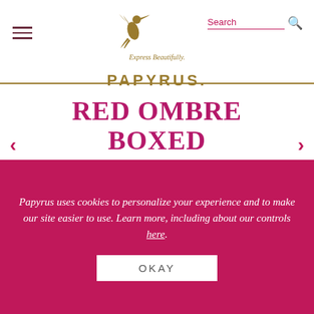[Figure (logo): Papyrus brand logo with hummingbird, text 'PAPYRUS.' and tagline 'Express Beautifully.']
RED OMBRE BOXED THANK YOU CARDS
Papyrus uses cookies to personalize your experience and to make our site easier to use. Learn more, including about our controls here.